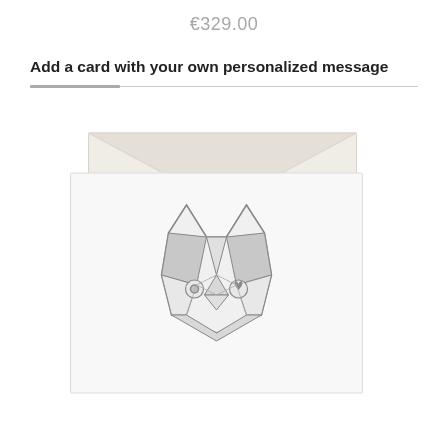€329.00
Add a card with your own personalized message
[Figure (illustration): A greeting card with a geometric low-poly cat face illustration in gray, placed on top of a cream-colored envelope.]